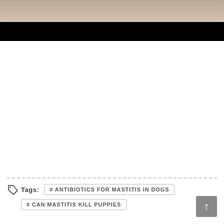[Figure (photo): Partial photo of a dog, top portion visible with black bar overlay at bottom of image]
Tags: # ANTIBIOTICS FOR MASTITIS IN DOGS # CAN MASTITIS KILL PUPPIES